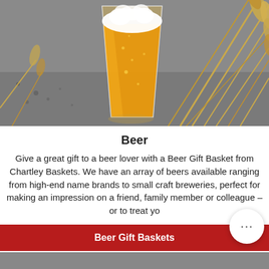[Figure (photo): A glass of golden beer with foam surrounded by wheat stalks on a grey speckled surface]
Beer
Give a great gift to a beer lover with a Beer Gift Basket from Chartley Baskets. We have an array of beers available ranging from high-end name brands to small craft breweries, perfect for making an impression on a friend, family member or colleague – or to treat yo...
Beer Gift Baskets